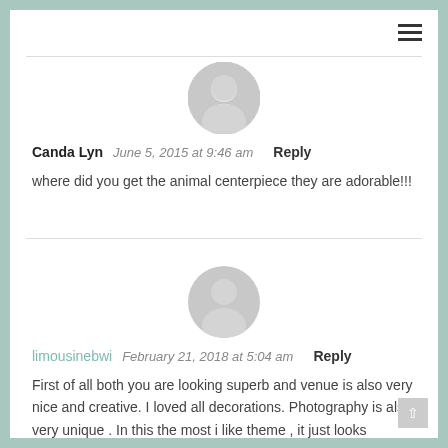[Figure (illustration): Gray default user avatar icon (circular silhouette with head and shoulders)]
Canda Lyn  June 5, 2015 at 9:46 am  Reply
where did you get the animal centerpiece they are adorable!!!
[Figure (illustration): Gray default user avatar icon (circular silhouette with head and shoulders)]
limousinebwi  February 21, 2018 at 5:04 am  Reply
First of all both you are looking superb and venue is also very nice and creative. I loved all decorations. Photography is also very unique . In this the most i like theme , it just looks